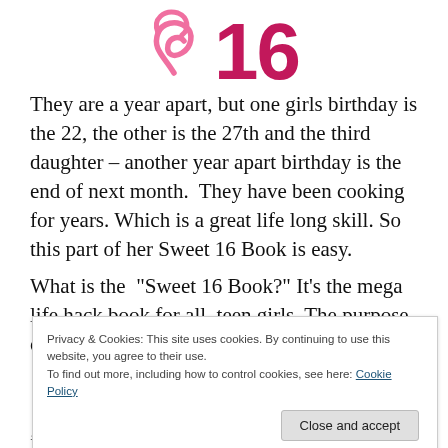[Figure (illustration): Decorative Sweet 16 logo/graphic with pink cursive flourish and large pink/magenta '16' numeral]
They are a year apart, but one girls birthday is the 22, the other is the 27th and the third daughter – another year apart birthday is the end of next month.  They have been cooking for years. Which is a great life long skill. So this part of her Sweet 16 Book is easy.
What is the “Sweet 16 Book?” It’s the mega life hack book for all  teen girls. The purpose of this book is to ensure that
Privacy & Cookies: This site uses cookies. By continuing to use this website, you agree to their use.
To find out more, including how to control cookies, see here: Cookie Policy
is there to know beside your left and right turn signals from